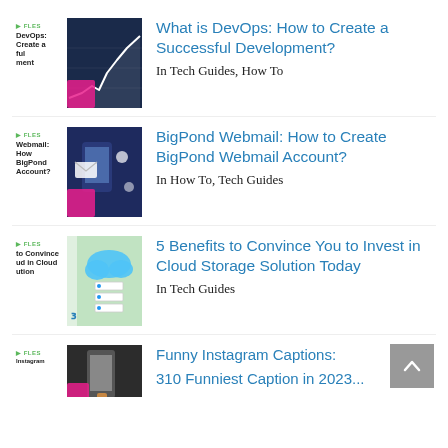What is DevOps: How to Create a Successful Development?
In Tech Guides, How To
BigPond Webmail: How to Create BigPond Webmail Account?
In How To, Tech Guides
5 Benefits to Convince You to Invest in Cloud Storage Solution Today
In Tech Guides
Funny Instagram Captions: